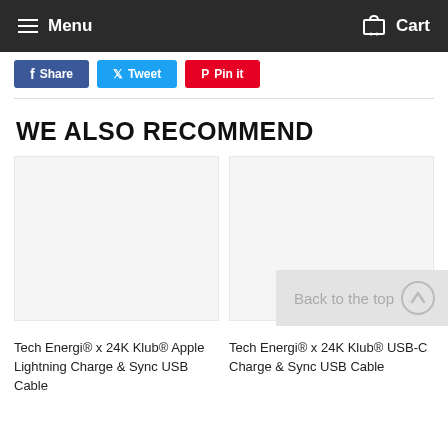Menu  Cart
[Figure (other): Share buttons: Facebook, Twitter, Pinterest]
WE ALSO RECOMMEND
[Figure (other): Back to the top button with upward arrow icon]
Tech Energi® x 24K Klub® Apple Lightning Charge & Sync USB Cable
Tech Energi® x 24K Klub® USB-C Charge & Sync USB Cable